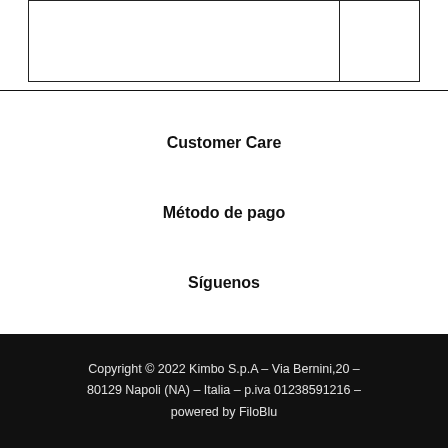Customer Care
Método de pago
Síguenos
Copyright © 2022 Kimbo S.p.A – Via Bernini,20 – 80129 Napoli (NA) – Italia – p.iva 01238591216 – powered by FiloBlu